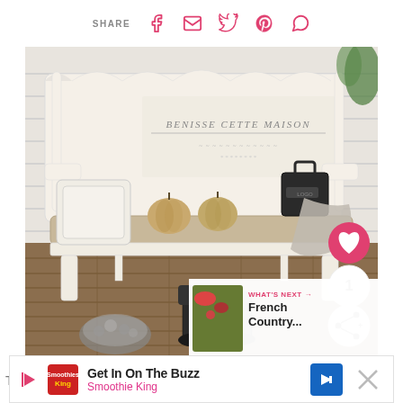SHARE [social icons: Facebook, Email, Twitter, Pinterest, WhatsApp]
[Figure (photo): A white painted French country bench with a cushioned seat in the entryway. On the bench: a decorative pillow, two pumpkins, a black crossbody bag, and a gray scarf. Under the bench: black winter boots and fuzzy slippers. The bench has text 'BENISSE CETTE MAISON' on the back. Background: white shiplap wall and dark wood plank floor. Overlay elements include a heart/favorite button (1 like), a share button, and a 'What's Next: French Country...' thumbnail overlay.]
Get In On The Buzz
Smoothie King
The ... come of ...